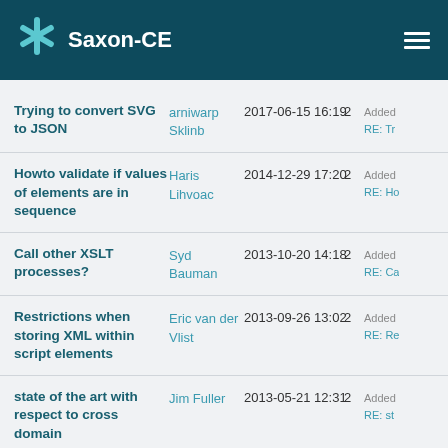Saxon-CE
Trying to convert SVG to JSON | arniwarp Sklinb | 2017-06-15 16:19 | 2 | Added RE: Tr
Howto validate if values of elements are in sequence | Haris Lihvoac | 2014-12-29 17:20 | 2 | Added RE: Ho
Call other XSLT processes? | Syd Bauman | 2013-10-20 14:18 | 2 | Added RE: Ca
Restrictions when storing XML within script elements | Eric van der Vlist | 2013-09-26 13:02 | 2 | Added RE: Re
state of the art with respect to cross domain | Jim Fuller | 2013-05-21 12:31 | 2 | Added RE: st